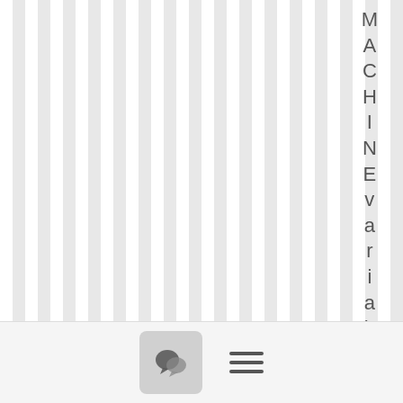[Figure (illustration): Page with vertical gray stripes on the left portion and vertical text reading 'MACHINEvariablesett' on the right side, plus a footer bar with a chat bubble icon button and a hamburger menu icon.]